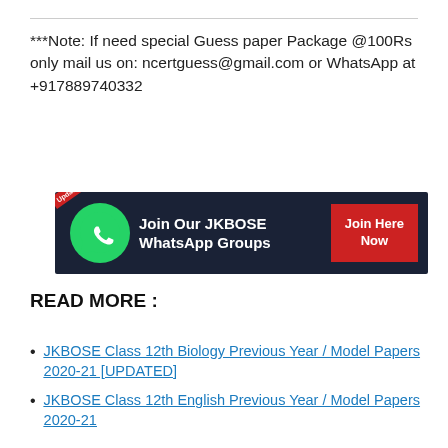***Note: If need special Guess paper Package @100Rs only mail us on: ncertguess@gmail.com or WhatsApp at +917889740332
[Figure (infographic): Dark navy banner with WhatsApp logo icon, text 'Join Our JKBOSE WhatsApp Groups', and a red 'Join Here Now' button. Top-left corner has a red 'Updated' diagonal label.]
READ MORE :
JKBOSE Class 12th Biology Previous Year / Model Papers 2020-21 [UPDATED]
JKBOSE Class 12th English Previous Year / Model Papers 2020-21